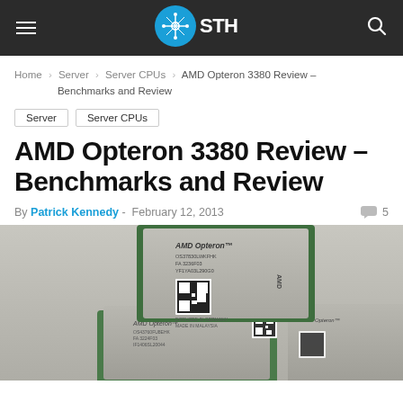STH — ServeTheHome
Home › Server › Server CPUs › AMD Opteron 3380 Review – Benchmarks and Review
Server
Server CPUs
AMD Opteron 3380 Review – Benchmarks and Review
By Patrick Kennedy - February 12, 2013  💬 5
[Figure (photo): Two AMD Opteron processor chips (ICs) stacked/arranged together showing the top label surface with AMD Opteron branding and QR code markings.]